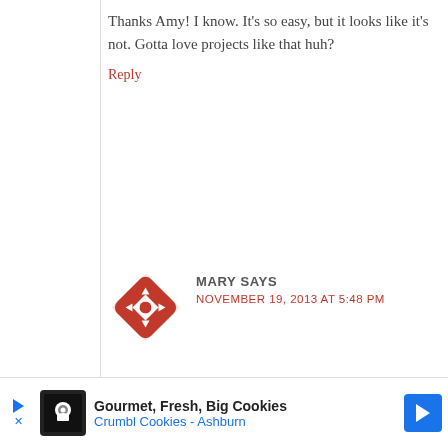Thanks Amy! I know. It's so easy, but it looks like it's not. Gotta love projects like that huh?
Reply
[Figure (logo): Red decorative compass/rose avatar icon for commenter Mary]
MARY SAYS
NOVEMBER 19, 2013 AT 5:48 PM
hear hear! i've been watching your crochet series, and this project is calling my name!
Reply
[Figure (other): Advertisement banner: Gourmet, Fresh, Big Cookies - Crumbl Cookies - Ashburn]